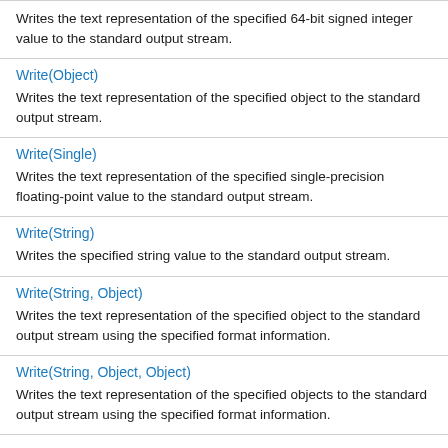Writes the text representation of the specified 64-bit signed integer value to the standard output stream.
Write(Object)
Writes the text representation of the specified object to the standard output stream.
Write(Single)
Writes the text representation of the specified single-precision floating-point value to the standard output stream.
Write(String)
Writes the specified string value to the standard output stream.
Write(String, Object)
Writes the text representation of the specified object to the standard output stream using the specified format information.
Write(String, Object, Object)
Writes the text representation of the specified objects to the standard output stream using the specified format information.